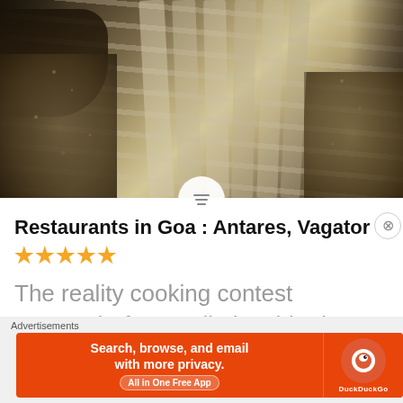[Figure (photo): Outdoor stone pathway with gravel on either side; a dark-clothed person visible at top left]
Restaurants in Goa : Antares, Vagator ★★★★★
The reality cooking contest Masterchef Australia is a big draw in India. With its
Advertisements
[Figure (screenshot): DuckDuckGo advertisement banner: Search, browse, and email with more privacy. All in One Free App]